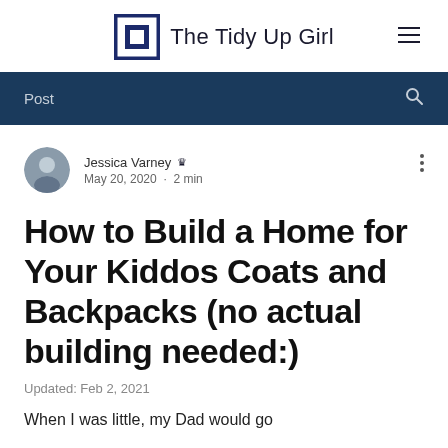The Tidy Up Girl
Post
Jessica Varney  Admin
May 20, 2020  ·  2 min
How to Build a Home for Your Kiddos Coats and Backpacks (no actual building needed:)
Updated: Feb 2, 2021
When I was little, my Dad would go